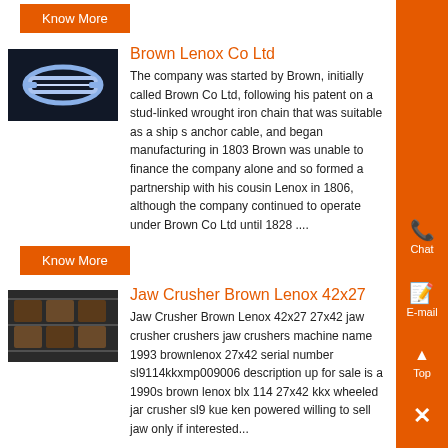Know More
[Figure (photo): Industrial chain or mechanical component, lit with blue/white light on dark background]
Brown Lenox Co Ltd
The company was started by Brown, initially called Brown Co Ltd, following his patent on a stud-linked wrought iron chain that was suitable as a ship s anchor cable, and began manufacturing in 1803 Brown was unable to finance the company alone and so formed a partnership with his cousin Lenox in 1806, although the company continued to operate under Brown Co Ltd until 1828 ....
Know More
[Figure (photo): Bags or materials stacked in a warehouse or industrial setting]
Jaw Crusher Brown Lenox 42x27
Jaw Crusher Brown Lenox 42x27 27x42 jaw crusher crushers jaw crushers machine name 1993 brownlenox 27x42 serial number sl9114kkxmp009006 description up for sale is a 1990s brown lenox blx 114 27x42 kkx wheeled jar crusher sl9 kue ken powered willing to sell jaw only if interested...
Know More
[Figure (photo): Industrial machinery or equipment, partially visible at bottom]
Kue Ken Jaw Crusher Dimension